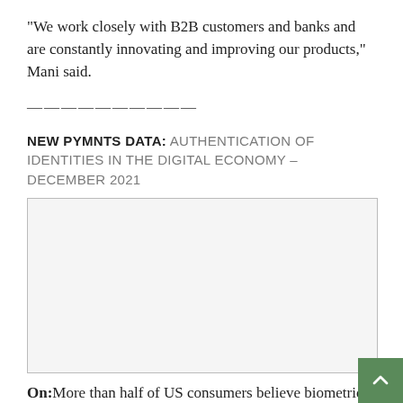“We work closely with B2B customers and banks and are constantly innovating and improving our products,” Mani said.
———————————
NEW PYMNTS DATA: AUTHENTICATION OF IDENTITIES IN THE DIGITAL ECONOMY – DECEMBER 2021
[Figure (other): Placeholder image box, light gray background with border, no visible content inside.]
On: More than half of US consumers believe biometric authentication methods are faster, more convenient and more reliable than passwords or PINs. So why do less than 10% use them? PYMNTS, in collaboration with Mitek, surveyed more